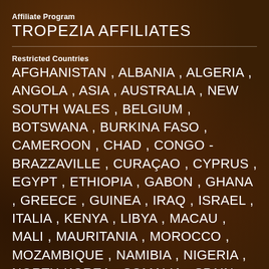Affiliate Program
TROPEZIA AFFILIATES
Restricted Countries
AFGHANISTAN , ALBANIA , ALGERIA , ANGOLA , ASIA , AUSTRALIA , NEW SOUTH WALES , BELGIUM , BOTSWANA , BURKINA FASO , CAMEROON , CHAD , CONGO - BRAZZAVILLE , CURAÇAO , CYPRUS , EGYPT , ETHIOPIA , GABON , GHANA , GREECE , GUINEA , IRAQ , ISRAEL , ITALIA , KENYA , LIBYA , MACAU , MALI , MAURITANIA , MOROCCO , MOZAMBIQUE , NAMIBIA , NIGERIA , NORTH KOREA , SOMALIA , SPAIN , SUDAN , SWEDEN , SYRIA , TANZANIA , TUNISIA , TURKEY , UNITED KINGDOM , UNITED STATES , AMERICAN SAMOA , GUAM , NORTHERN MARIANA ISLANDS , PUERTO RICO , U.S. VIRGIN ISLANDS , ALABAMA ,